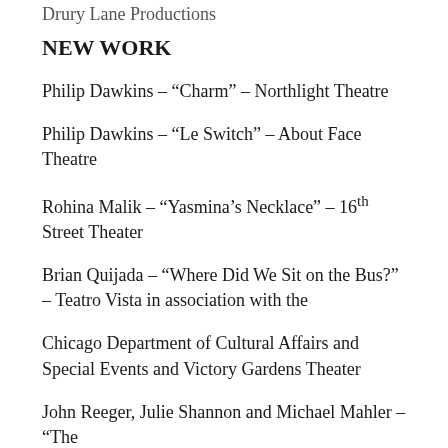Drury Lane Productions
NEW WORK
Philip Dawkins – “Charm” – Northlight Theatre
Philip Dawkins – “Le Switch” – About Face Theatre
Rohina Malik – “Yasmina’s Necklace” – 16th Street Theater
Brian Quijada – “Where Did We Sit on the Bus?” – Teatro Vista in association with the
Chicago Department of Cultural Affairs and Special Events and Victory Gardens Theater
John Reeger, Julie Shannon and Michael Mahler – “The